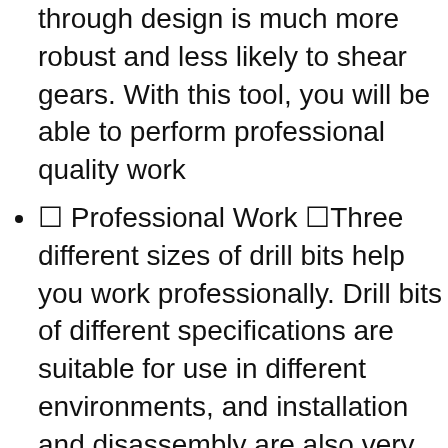through design is much more robust and less likely to shear gears. With this tool, you will be able to perform professional quality work
✦ Professional Work ✦Three different sizes of drill bits help you work professionally. Drill bits of different specifications are suitable for use in different environments, and installation and disassembly are also very convenient.
✦Goods Specifications✦NOTE: Due to the large size of the product, it will be delivered in two packages. Please wait patiently for the arrival of the two packages.Supplied with bits of 4″, 6″ & 8″, plus Long...